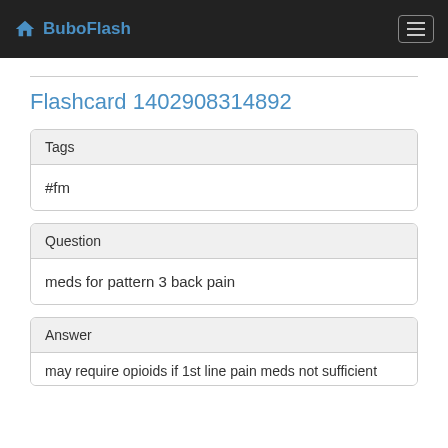BuboFlash
Flashcard 1402908314892
| Tags |
| --- |
| #fm |
| Question |
| --- |
| meds for pattern 3 back pain |
| Answer |
| --- |
| may require opioids if 1st line pain meds not sufficient |